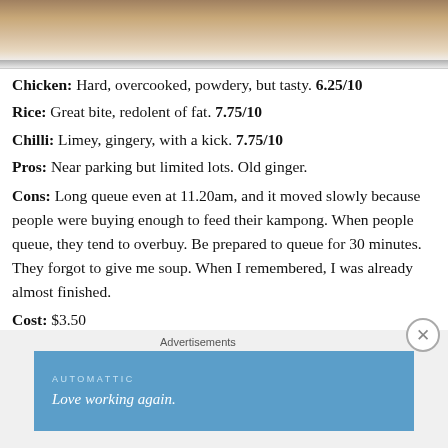[Figure (photo): Close-up photo of chicken rice dish — chicken pieces with sauce on a plate, cropped at the top of the page]
Chicken: Hard, overcooked, powdery, but tasty. 6.25/10
Rice: Great bite, redolent of fat. 7.75/10
Chilli: Limey, gingery, with a kick. 7.75/10
Pros: Near parking but limited lots. Old ginger.
Cons: Long queue even at 11.20am, and it moved slowly because people were buying enough to feed their kampong. When people queue, they tend to overbuy. Be prepared to queue for 30 minutes. They forgot to give me soup. When I remembered, I was already almost finished.
Cost: $3.50
Rating: 7.25/10